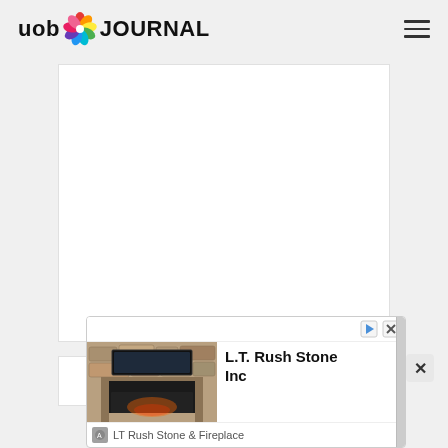uob JOURNAL
[Figure (screenshot): Large white content area, likely an article or ad placeholder, with light gray background surrounding it]
Interesting Articles
[Figure (screenshot): Advertisement for L.T. Rush Stone Inc / LT Rush Stone & Fireplace showing a stone fireplace wall with TV mount]